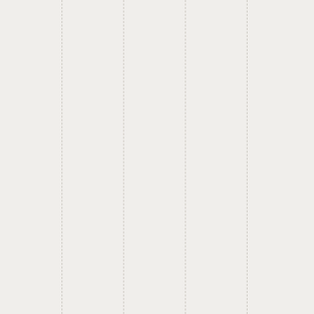investigation. He takes the heat for a brief time, but he looks like a fair-minded Senator who left his seat on a high note.

I think Murkowski is